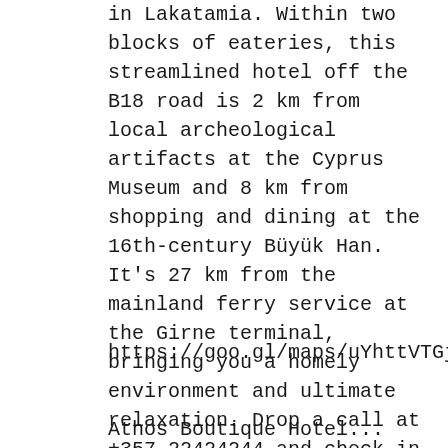in Lakatamia. Within two blocks of eateries, this streamlined hotel off the B18 road is 2 km from local archeological artifacts at the Cyprus Museum and 8 km from shopping and dining at the 16th-century Büyük Han. It's 27 km from the mainland ferry service at the Girne terminal, bringing you a homely environment and ultimate relaxation. Drop a call at +357 22424244 and check in at Κανάρη Λευκωσία CY, 2368, Cyprus. Get some well-deserved R&R at Hypnos by bed N' mix so you can get energized for the rest of your stay in Lakatamia!
https://goo.gl/maps/uYhttVTGjdJxauwz7
Athos Boutique Hotel...